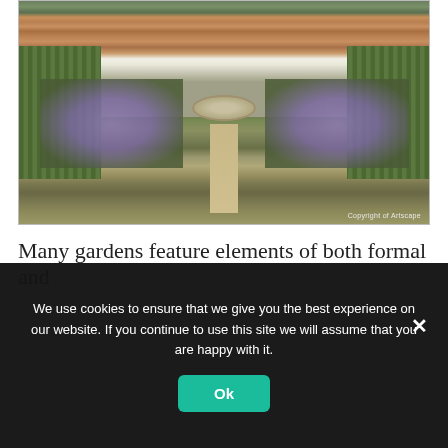[Figure (photo): Formal English garden with a circular stone fountain in the center, lavender and box hedges on either side, a stone pathway leading to a large red brick house with white windows and a pergola. Striped lawn visible on both sides. Copyright watermark 'Copyright of Artscape' in lower right.]
Many gardens feature elements of both formal and
We use cookies to ensure that we give you the best experience on our website. If you continue to use this site we will assume that you are happy with it.
Ok